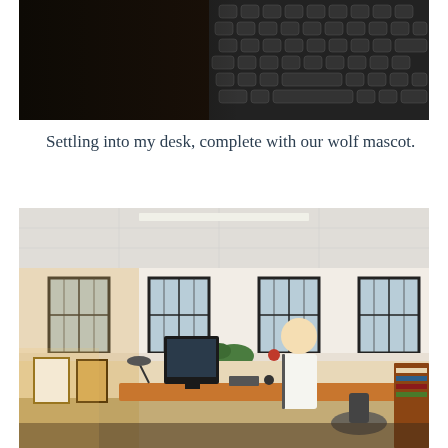[Figure (photo): Close-up photo of a black keyboard on a dark desk surface, partially cropped at the top]
Settling into my desk, complete with our wolf mascot.
[Figure (photo): Photo of a person standing at a desk in an office with large windows along the back wall, a computer monitor, chairs, framed pictures on the wall, and a bookcase]